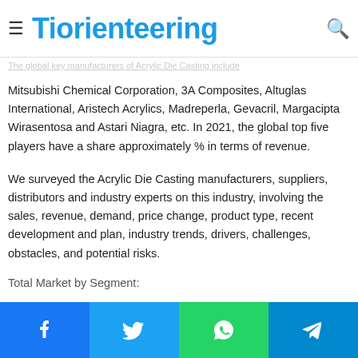≡ Tiorienteering 🔍
with a 3% CAGR in next six years
The global key manufacturers of Acrylic Die Casting include
Mitsubishi Chemical Corporation, 3A Composites, Altuglas International, Aristech Acrylics, Madreperla, Gevacril, Margacipta Wirasentosa and Astari Niagra, etc. In 2021, the global top five players have a share approximately % in terms of revenue.
We surveyed the Acrylic Die Casting manufacturers, suppliers, distributors and industry experts on this industry, involving the sales, revenue, demand, price change, product type, recent development and plan, industry trends, drivers, challenges, obstacles, and potential risks.
Total Market by Segment: